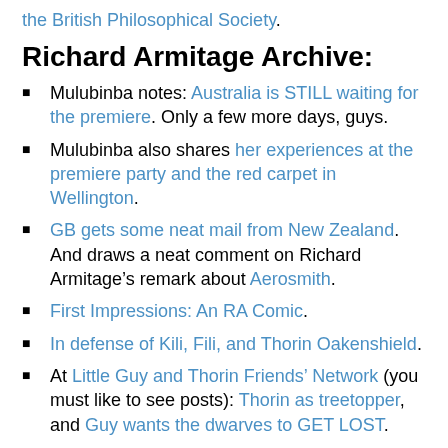the British Philosophical Society.
Richard Armitage Archive:
Mulubinba notes: Australia is STILL waiting for the premiere. Only a few more days, guys.
Mulubinba also shares her experiences at the premiere party and the red carpet in Wellington.
GB gets some neat mail from New Zealand. And draws a neat comment on Richard Armitage’s remark about Aerosmith.
First Impressions: An RA Comic.
In defense of Kili, Fili, and Thorin Oakenshield.
At Little Guy and Thorin Friends’ Network (you must like to see posts): Thorin as treetopper, and Guy wants the dwarves to GET LOST.